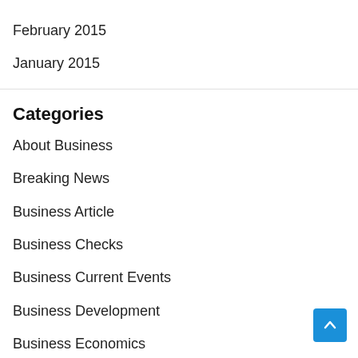February 2015
January 2015
Categories
About Business
Breaking News
Business Article
Business Checks
Business Current Events
Business Development
Business Economics
Business Ideas
Business Information